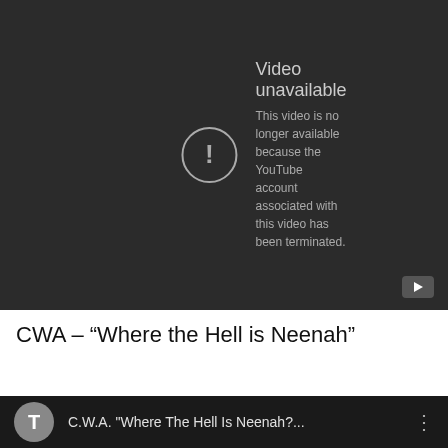[Figure (screenshot): YouTube video unavailable error screen with dark background. Circle exclamation icon on left, text 'Video unavailable' with message 'This video is no longer available because the YouTube account associated with this video has been terminated.' A YouTube play button icon is in the bottom-right corner.]
CWA – “Where the Hell is Neenah”
[Figure (screenshot): Partial screenshot of a YouTube video thumbnail/listing for 'C.W.A. "Where The Hell Is Neenah?...' with a circular avatar showing letter T on the left and a three-dots menu icon on the right.]